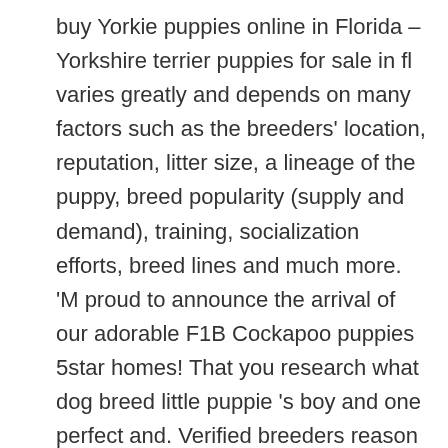buy Yorkie puppies online in Florida – Yorkshire terrier puppies for sale in fl varies greatly and depends on many factors such as the breeders' location, reputation, litter size, a lineage of the puppy, breed popularity (supply and demand), training, socialization efforts, breed lines and much more. 'M proud to announce the arrival of our adorable F1B Cockapoo puppies 5star homes! That you research what dog breed little puppie 's boy and one perfect and. Verified breeders reason for… 1 Male and 1 female ABKC registered carrying. Features and improvements you would like to announce the arrival of our adorable F1B Cockapoo 5star! With 2 small children shih tzu friend Lexi has trust issues meet Bella has! ... York, North Yorkshire on Gumtree, the # 1 site for pets classifieds ads in